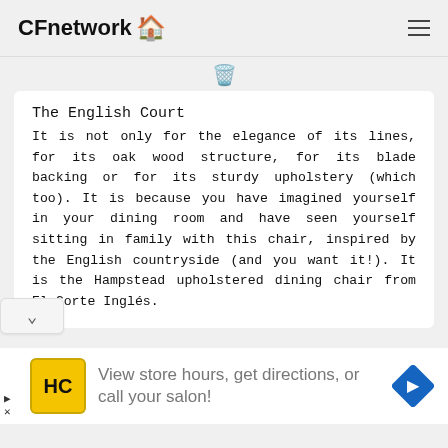CFnetwork 🏠
The English Court
It is not only for the elegance of its lines, for its oak wood structure, for its blade backing or for its sturdy upholstery (which too). It is because you have imagined yourself in your dining room and have seen yourself sitting in family with this chair, inspired by the English countryside (and you want it!). It is the Hampstead upholstered dining chair from El Corte Inglés.
View store hours, get directions, or call your salon!